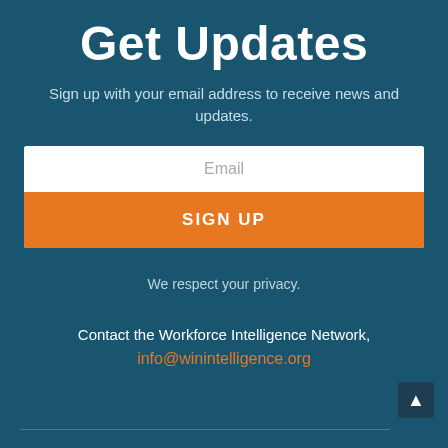Get Updates
Sign up with your email address to receive news and updates.
Email
SIGN UP
We respect your privacy.
Contact the Workforce Intelligence Network,
info@winintelligence.org